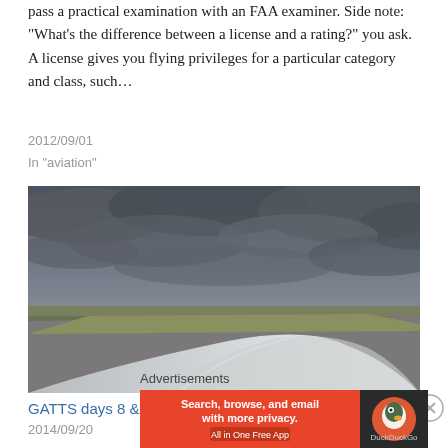pass a practical examination with an FAA examiner. Side note: "What's the difference between a license and a rating?" you ask. A license gives you flying privileges for a particular category and class, such…
2012/09/01
In "aviation"
[Figure (photo): View from inside an aircraft showing the wing tip over a runway and tarmac with dramatic overcast cloudy sky in the background with a green field visible in the distance.]
GATTS days 8 & 9: judgment day(s)
2014/09/20
Advertisements
[Figure (screenshot): DuckDuckGo advertisement banner: 'Search, browse, and email with more privacy. All in One Free App' with DuckDuckGo logo on orange background.]